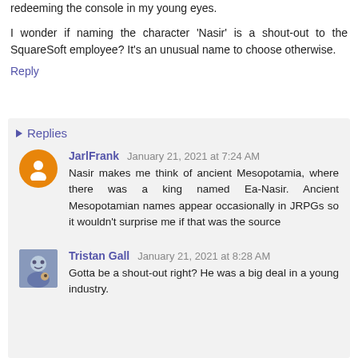redeeming the console in my young eyes.
I wonder if naming the character 'Nasir' is a shout-out to the SquareSoft employee? It's an unusual name to choose otherwise.
Reply
Replies
JarlFrank January 21, 2021 at 7:24 AM
Nasir makes me think of ancient Mesopotamia, where there was a king named Ea-Nasir. Ancient Mesopotamian names appear occasionally in JRPGs so it wouldn't surprise me if that was the source
Tristan Gall January 21, 2021 at 8:28 AM
Gotta be a shout-out right? He was a big deal in a young industry.